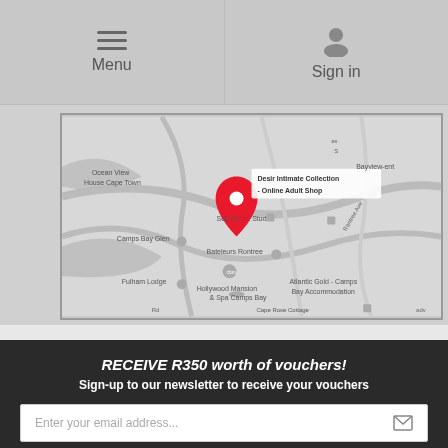Menu | Sign in
[Figure (map): Google Maps screenshot showing Camps Bay area, Cape Town, with a red pin marking 'Desir Intimate Collection - Online Adult Shop'. Nearby landmarks: Ocean View House Cape Town, Sea Mount Studio, Camps Bay Glen, Bateleurs Rontree, Fulham Lodge, Hollywood Mansion & Spa Camps Bay, Atlantic Gold - Camps Bay Accommodation, Cape Rose Cottage Guest House, Bayview.]
RECEIVE R350 worth of vouchers!
Sign-up to our newsletter to receive your vouchers
Enter your email address...
[Figure (other): Social media icons: Facebook, Twitter, Instagram, Pinterest, YouTube]